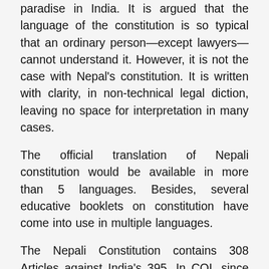paradise in India. It is argued that the language of the constitution is so typical that an ordinary person—except lawyers—cannot understand it. However, it is not the case with Nepal's constitution. It is written with clarity, in non-technical legal diction, leaving no space for interpretation in many cases.
The official translation of Nepali constitution would be available in more than 5 languages. Besides, several educative booklets on constitution have come into use in multiple languages.
The Nepali Constitution contains 308 Articles against India's 395. In COI, since 1950, more than 100amendments have been made, and it is through this way the Indian democracy has matured.
The most important point to be made is that Nepal has adopted a secular, democratic constitution with many…